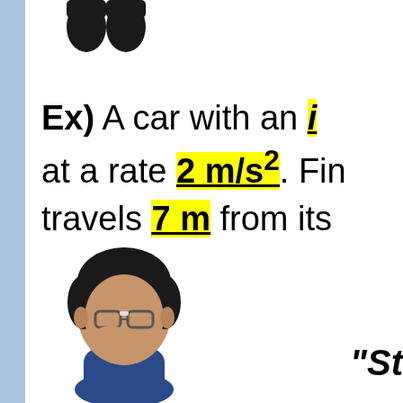[Figure (illustration): Top portion of a 3D animated character (shoes/feet visible at top of page)]
Ex) A car with an i... at a rate 2 m/s². Fi... travels 7 m from its...
[Figure (illustration): 3D animated cartoon character of a person with glasses, thinking pose]
"St...